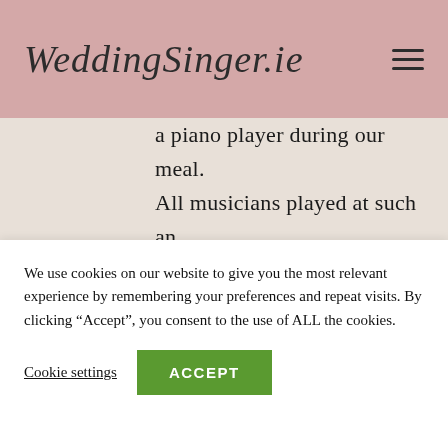WeddingSinger.ie
a piano player during our meal. All musicians played at such an incredible level, it added so perfectly to our wedding day. From the choice of songs they playe,d to their skills & even their attire, everything was 5
We use cookies on our website to give you the most relevant experience by remembering your preferences and repeat visits. By clicking “Accept”, you consent to the use of ALL the cookies.
Cookie settings
ACCEPT